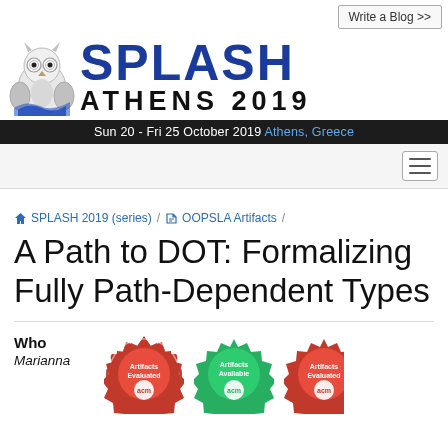Write a Blog >>
[Figure (logo): SPLASH Athens 2019 conference logo with owl mascot, dark blue SPLASH text, and ATHENS 2019 subtitle]
Sun 20 - Fri 25 October 2019 Athens, Greece
SPLASH 2019 (series) / OOPSLA Artifacts /
A Path to DOT: Formalizing Fully Path-Dependent Types
Who
Marianna